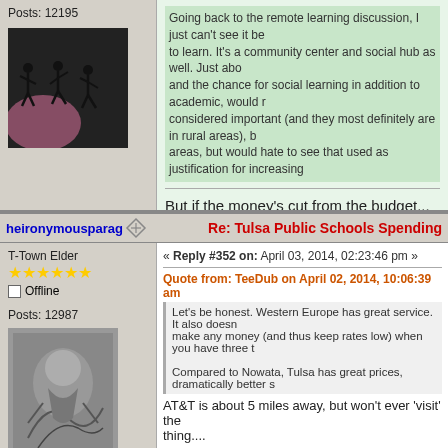Posts: 12195
[Figure (photo): Avatar image showing silhouette figures dancing (MIB style)]
Going back to the remote learning discussion, I just can't see it be to learn. It's a community center and social hub as well. Just abo and the chance for social learning in addition to academic, would r considered important (and they most definitely are in rural areas), b areas, but would hate to see that used as justification for increasing
But if the money's cut from the budget...
heironymousparadag
Re: Tulsa Public Schools Spending
T-Town Elder
« Reply #352 on: April 03, 2014, 02:23:46 pm »
Posts: 12987
[Figure (photo): Avatar image showing a black and white illustration of chaotic scene]
Quote from: TeeDub on April 02, 2014, 10:06:39 am
Let's be honest.  Western Europe has great service.  It also doesn make any money (and thus keep rates low) when you have three t
Compared to Nowata, Tulsa has great prices, dramatically better s
AT&T is about 5 miles away, but won't ever 'visit' the thing....
"So he brandished a gun, never shot anyone or anything right?"  --T
I don't share my thoughts because I think it will change the minds